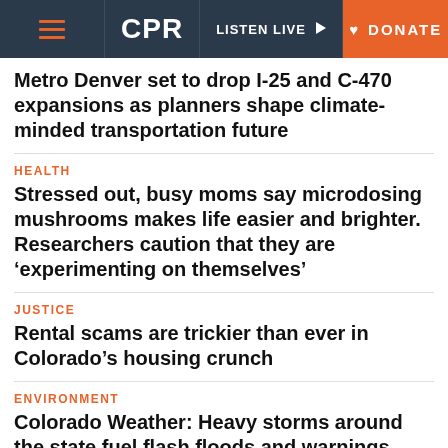CPR | LISTEN LIVE | DONATE
Metro Denver set to drop I-25 and C-470 expansions as planners shape climate-minded transportation future
HEALTH
Stressed out, busy moms say microdosing mushrooms makes life easier and brighter. Researchers caution that they are ‘experimenting on themselves’
JUSTICE
Rental scams are trickier than ever in Colorado’s housing crunch
ENVIRONMENT
Colorado Weather: Heavy storms around the state fuel flash floods and warnings.